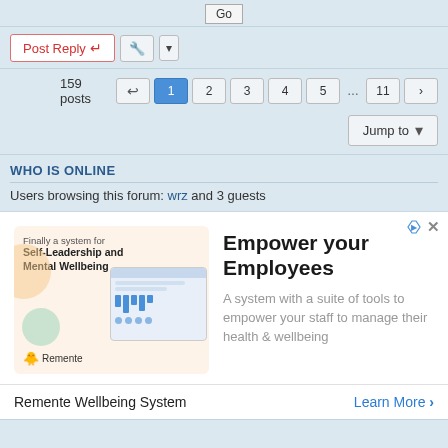Go
Post Reply
159 posts  1 2 3 4 5 ... 11 >
Jump to
WHO IS ONLINE
Users browsing this forum: wrz and 3 guests
[Figure (illustration): Advertisement banner for Remente Wellbeing System showing a laptop and phone with app interfaces on a peach background with text 'Finally a system for Self-Leadership and Mental Wellbeing' and Remente logo]
Empower your Employees
A system with a suite of tools to empower your staff to manage their health & wellbeing
Remente Wellbeing System   Learn More >